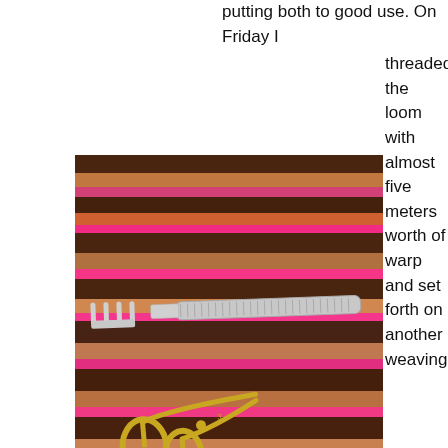putting both to good use. On Friday I threaded the loom with almost five meters worth of warp and set forth on another weaving
[Figure (photo): A woven textile background in shades of brown, pink, orange and red, with a silver fork/tapestry needle and golden scissors, plus small pink scissors laid on top.]
fork, scissors, tapestry needle
experiment.
I won’t call this Saori weaving–rather Saori-style. It’s